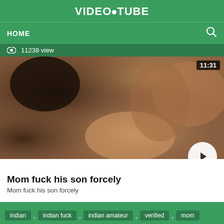VIDEO•TUBE
HOME
👁 11239 view
[Figure (screenshot): Video thumbnail showing two people in close proximity, with a duration badge showing 11:31 in the top right corner and a play button in the bottom right.]
Mom fuck his son forcely
Mom fuck his son forcely
indian , indian fuck , indian amateur , verified , mom